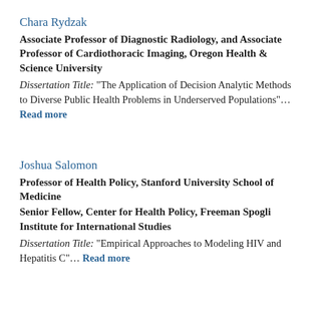Chara Rydzak
Associate Professor of Diagnostic Radiology, and Associate Professor of Cardiothoracic Imaging, Oregon Health & Science University
Dissertation Title: "The Application of Decision Analytic Methods to Diverse Public Health Problems in Underserved Populations"... Read more
Joshua Salomon
Professor of Health Policy, Stanford University School of Medicine
Senior Fellow, Center for Health Policy, Freeman Spogli Institute for International Studies
Dissertation Title: "Empirical Approaches to Modeling HIV and Hepatitis C"... Read more